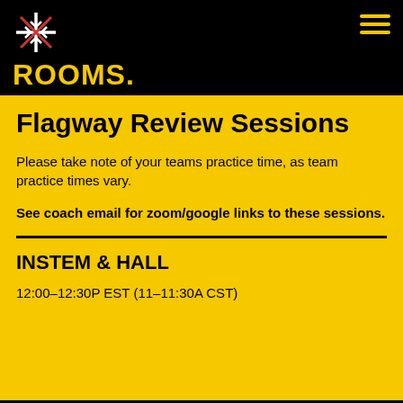[Figure (logo): Snowflake-style asterisk logo in white/red/black on black background, top left]
rooms.
Flagway Review Sessions
Please take note of your teams practice time, as team practice times vary.
See coach email for zoom/google links to these sessions.
INSTEM & HALL
12:00–12:30P EST (11–11:30A CST)